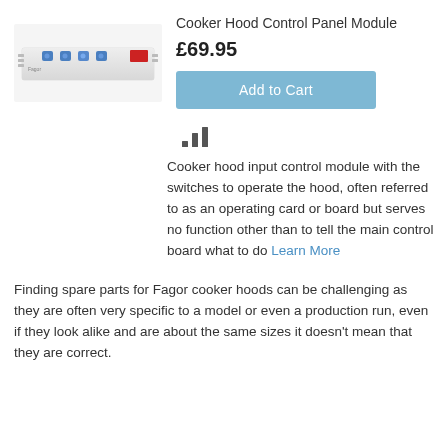Cooker Hood Control Panel Module
£69.95
[Figure (photo): Photo of a cooker hood control panel module — a white horizontal strip with blue buttons and a red component]
Add to Cart
[Figure (infographic): Small bar chart signal/analytics icon]
Cooker hood input control module with the switches to operate the hood, often referred to as an operating card or board but serves no function other than to tell the main control board what to do Learn More
Finding spare parts for Fagor cooker hoods can be challenging as they are often very specific to a model or even a production run, even if they look alike and are about the same sizes it doesn't mean that they are correct.